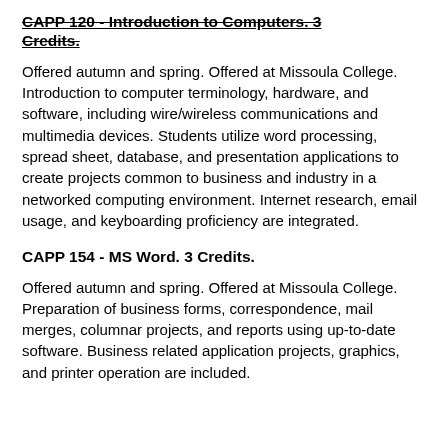CAPP 120 - Introduction to Computers. 3 Credits.
Offered autumn and spring. Offered at Missoula College. Introduction to computer terminology, hardware, and software, including wire/wireless communications and multimedia devices. Students utilize word processing, spread sheet, database, and presentation applications to create projects common to business and industry in a networked computing environment. Internet research, email usage, and keyboarding proficiency are integrated.
CAPP 154 - MS Word. 3 Credits.
Offered autumn and spring. Offered at Missoula College. Preparation of business forms, correspondence, mail merges, columnar projects, and reports using up-to-date software. Business related application projects, graphics, and printer operation are included.